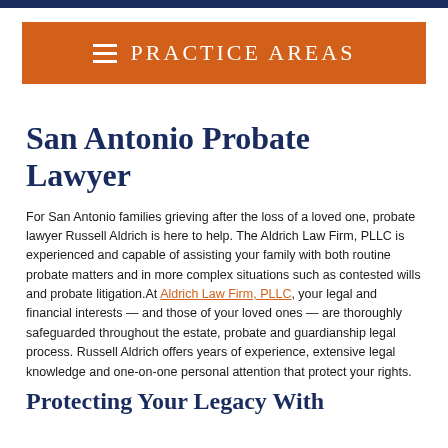Practice Areas
San Antonio Probate Lawyer
For San Antonio families grieving after the loss of a loved one, probate lawyer Russell Aldrich is here to help. The Aldrich Law Firm, PLLC is experienced and capable of assisting your family with both routine probate matters and in more complex situations such as contested wills and probate litigation.At Aldrich Law Firm, PLLC, your legal and financial interests — and those of your loved ones — are thoroughly safeguarded throughout the estate, probate and guardianship legal process. Russell Aldrich offers years of experience, extensive legal knowledge and one-on-one personal attention that protect your rights.
Protecting Your Legacy With